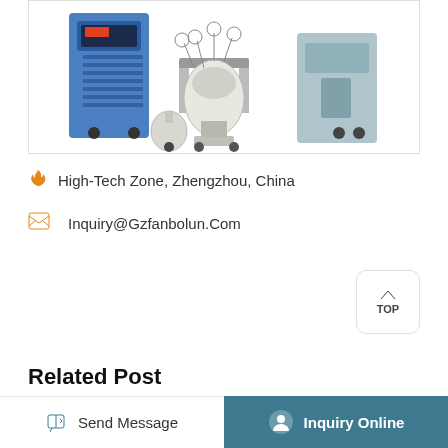[Figure (photo): Lab equipment photograph showing a blue chiller/cooling unit on the left, a rotary evaporator or glass reactor in the center, and a light blue cabinet on the right, all on a white background inside a bordered box.]
🔥 High-Tech Zone, Zhengzhou, China
✉ Inquiry@Gzfanbolun.Com
Inquiry Online
TOP
Related Post
Ace Glass Uv Reactor Color
Double Layer Glass Reactor Quiet
Send Message   Inquiry Online